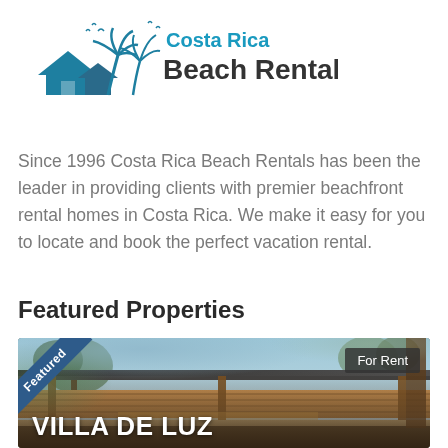[Figure (logo): Costa Rica Beach Rentals logo with palm trees, birds, and house silhouette in teal/blue colors. Text reads 'Costa Rica' in teal and 'Beach Rentals' in dark gray bold.]
Since 1996 Costa Rica Beach Rentals has been the leader in providing clients with premier beachfront rental homes in Costa Rica. We make it easy for you to locate and book the perfect vacation rental.
Featured Properties
[Figure (photo): Photo of a beachfront vacation rental property (Villa De Luz) showing a covered wooden structure/patio area with trees in the background. Has a 'Featured' ribbon in the top-left corner and a 'For Rent' badge in the top-right corner. 'VILLA DE LUZ' text appears at the bottom of the image.]